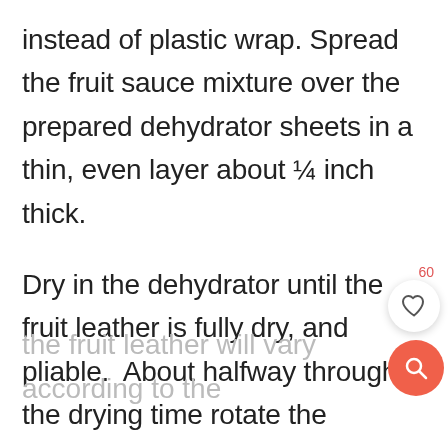instead of plastic wrap. Spread the fruit sauce mixture over the prepared dehydrator sheets in a thin, even layer about ¼ inch thick.
Dry in the dehydrator until the fruit leather is fully dry, and pliable. About halfway through the drying time rotate the dehydrator trays so that the fruit leather dries evenly. The time needed to fully dry
the fruit leather will vary according to the